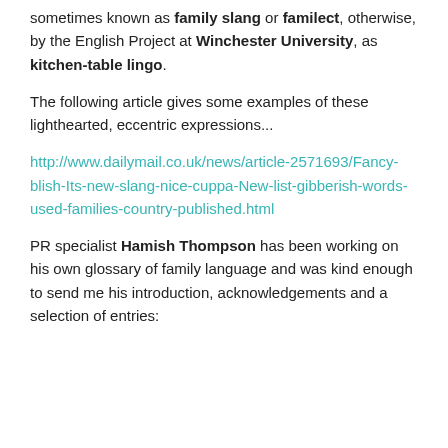sometimes known as family slang or familect, otherwise, by the English Project at Winchester University, as kitchen-table lingo.
The following article gives some examples of these lighthearted, eccentric expressions...
http://www.dailymail.co.uk/news/article-2571693/Fancy-blish-Its-new-slang-nice-cuppa-New-list-gibberish-words-used-families-country-published.html
PR specialist Hamish Thompson has been working on his own glossary of family language and was kind enough to send me his introduction, acknowledgements and a selection of entries: